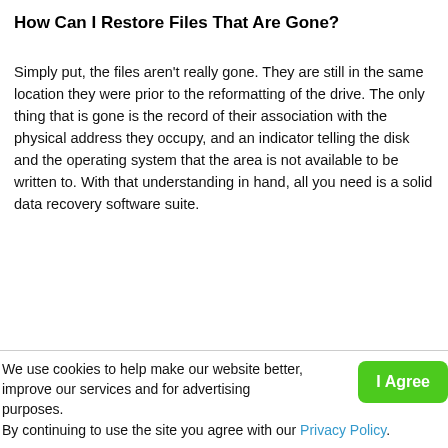How Can I Restore Files That Are Gone?
Simply put, the files aren’t really gone.  They are still in the same location they were prior to the reformatting of the drive.  The only thing that is gone is the record of their association with the physical address they occupy, and an indicator telling the disk and the operating system that the area is not available to be written to.  With that understanding in hand, all you need is a solid data recovery software suite.
We use cookies to help make our website better, improve our services and for advertising purposes.
By continuing to use the site you agree with our Privacy Policy.